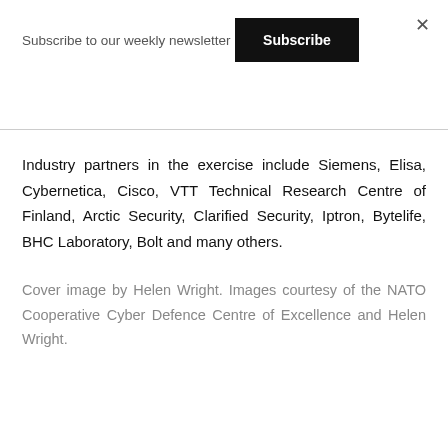Subscribe to our weekly newsletter
Subscribe
Industry partners in the exercise include Siemens, Elisa, Cybernetica, Cisco, VTT Technical Research Centre of Finland, Arctic Security, Clarified Security, Iptron, Bytelife, BHC Laboratory, Bolt and many others.
Cover image by Helen Wright. Images courtesy of the NATO Cooperative Cyber Defence Centre of Excellence and Helen Wright.